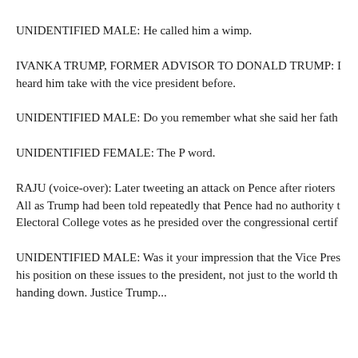UNIDENTIFIED MALE: He called him a wimp.
IVANKA TRUMP, FORMER ADVISOR TO DONALD TRUMP: I heard him take with the vice president before.
UNIDENTIFIED MALE: Do you remember what she said her fath
UNIDENTIFIED FEMALE: The P word.
RAJU (voice-over): Later tweeting an attack on Pence after rioters All as Trump had been told repeatedly that Pence had no authority Electoral College votes as he presided over the congressional certif
UNIDENTIFIED MALE: Was it your impression that the Vice Pres his position on these issues to the president, not just to the world th handing down. Justice Trump...